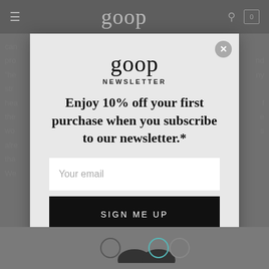goop
[Figure (screenshot): goop website newsletter signup modal overlay. Modal contains goop logo, NEWSLETTER label, promotional headline, email input field, sign up button, and fine print.]
goop
NEWSLETTER
Enjoy 10% off your first purchase when you subscribe to our newsletter.*
Your email
SIGN ME UP
By signing up, you agree to periodic email marketing from goop to the email address you provided. Terms apply. Web Terms and Conditions. Privacy and Cookie Policy.